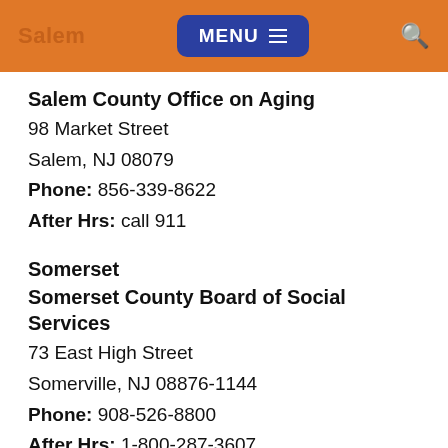Salem | MENU | Search
Salem County Office on Aging
98 Market Street
Salem, NJ 08079
Phone: 856-339-8622
After Hrs: call 911
Somerset
Somerset County Board of Social Services
73 East High Street
Somerville, NJ 08876-1144
Phone: 908-526-8800
After Hrs: 1-800-287-3607